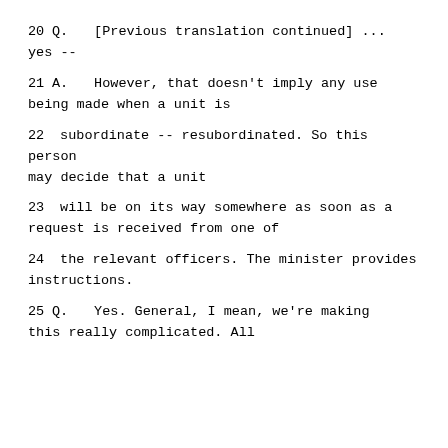20    Q.   [Previous translation continued] ... yes --
21        A.   However, that doesn't imply any use being made when a unit is
22      subordinate -- resubordinated.  So this person may decide that a unit
23      will be on its way somewhere as soon as a request is received from one of
24      the relevant officers.  The minister provides instructions.
25        Q.   Yes.  General, I mean, we're making this really complicated.  All